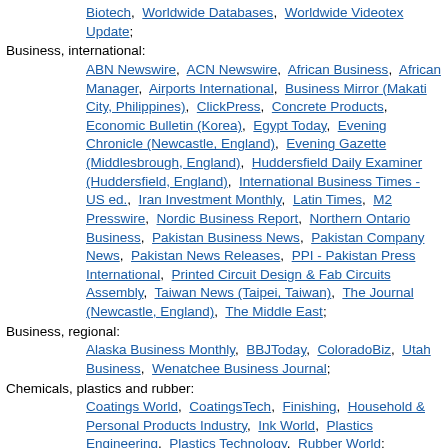Biotech, Worldwide Databases, Worldwide Videotex Update;
Business, international: ABN Newswire, ACN Newswire, African Business, African Manager, Airports International, Business Mirror (Makati City, Philippines), ClickPress, Concrete Products, Economic Bulletin (Korea), Egypt Today, Evening Chronicle (Newcastle, England), Evening Gazette (Middlesbrough, England), Huddersfield Daily Examiner (Huddersfield, England), International Business Times - US ed., Iran Investment Monthly, Latin Times, M2 Presswire, Nordic Business Report, Northern Ontario Business, Pakistan Business News, Pakistan Company News, Pakistan News Releases, PPI - Pakistan Press International, Printed Circuit Design & Fab Circuits Assembly, Taiwan News (Taipei, Taiwan), The Journal (Newcastle, England), The Middle East;
Business, regional: Alaska Business Monthly, BBJToday, ColoradoBiz, Utah Business, Wenatchee Business Journal;
Chemicals, plastics and rubber: Coatings World, CoatingsTech, Finishing, Household & Personal Products Industry, Ink World, Plastics Engineering, Plastics Technology, Rubber World;
Computers and office automation: Computer Security Update, Electro Manufacturing, Imaging Update, Internet Business News, Label & Narrow Web, MIT Technology Review, Printed Circuit Design & Fab Circuits Assembly, Software World;